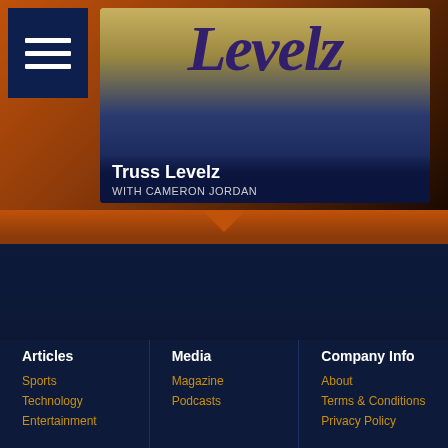[Figure (screenshot): Podcast card for Truss Levelz with Cameron Jordan, shown on an orange-brown background with a menu icon in top left]
Truss Levelz
WITH CAMERON JORDAN
[Figure (logo): FXQ logo in dark blue text on white background]
Articles
Sports
Technology
Entertainment
Media
Magazine
Podcasts
Company Info
About
Terms & Conditions
Privacy Policy